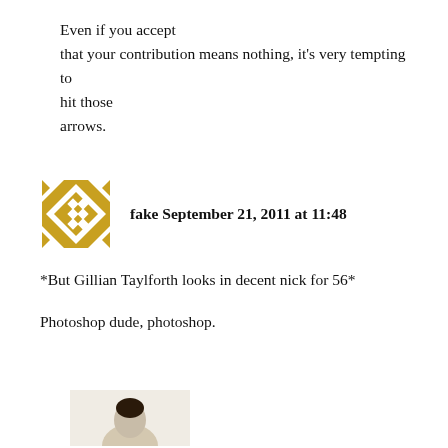Even if you accept that your contribution means nothing, it's very tempting to hit those arrows.
[Figure (illustration): Golden decorative geometric pattern avatar icon]
fake September 21, 2011 at 11:48
*But Gillian Taylforth looks in decent nick for 56*
Photoshop dude, photoshop.
[Figure (illustration): Partial avatar image at bottom of page]